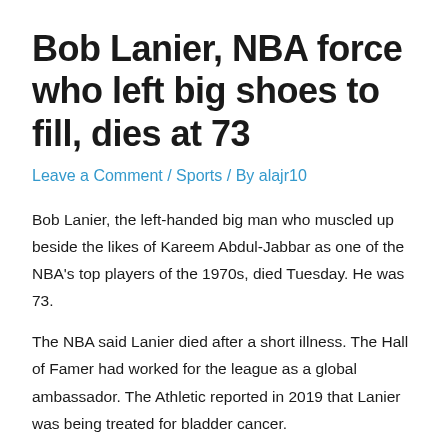Bob Lanier, NBA force who left big shoes to fill, dies at 73
Leave a Comment / Sports / By alajr10
Bob Lanier, the left-handed big man who muscled up beside the likes of Kareem Abdul-Jabbar as one of the NBA's top players of the 1970s, died Tuesday. He was 73.
The NBA said Lanier died after a short illness. The Hall of Famer had worked for the league as a global ambassador. The Athletic reported in 2019 that Lanier was being treated for bladder cancer.
Lanier played 14 seasons with the Detroit Pistons and Milwaukee Bucks and averaged 20.1 points and 10.1 rebounds for his career. He is third on the Pistons' career list in both points and rebounds. Detroit drafted Lanier with the No. 1 overall pick in 1970 after he led St. Bonaventure to the Final Four.